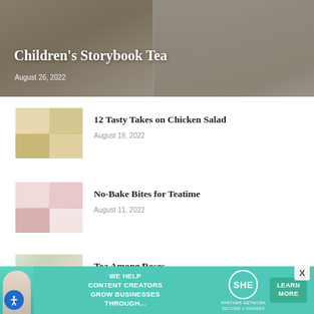[Figure (photo): Hero banner image showing two panels: left panel shows a floral teacup with tea, right panel shows a white floral teapot and saucers, overlaid with dark semi-transparent layer and white text]
Children's Storybook Tea
August 26, 2022
[Figure (photo): Grid of four food photos showing chicken salad preparations]
12 Tasty Takes on Chicken Salad
August 19, 2022
[Figure (photo): Grid of four photos showing no-bake teatime bites in pink/red cups]
No-Bake Bites for Teatime
August 11, 2022
[Figure (photo): Photo of a tea table setting with roses and floral arrangements]
Tea Among Roses
August 11, 2022
[Figure (infographic): SHE Media Partner Network advertisement banner in teal/green color with person illustration, 'WE HELP CONTENT CREATORS GROW BUSINESSES THROUGH...' text, SHE logo, and LEARN MORE button]